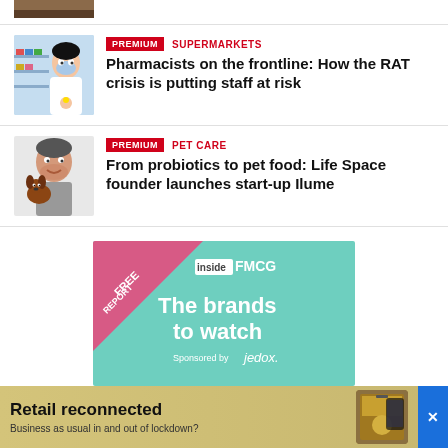[Figure (photo): Partial top of a photo — cropped article thumbnail visible at top of page]
[Figure (photo): Photo of a pharmacist wearing a mask in a pharmacy]
PREMIUM
SUPERMARKETS
Pharmacists on the frontline: How the RAT crisis is putting staff at risk
[Figure (photo): Photo of a man smiling holding a small dog]
PREMIUM
PET CARE
From probiotics to pet food: Life Space founder launches start-up Ilume
[Figure (infographic): Inside FMCG advertisement: FREE REPORT banner, 'The brands to watch', Sponsored by jedox.]
[Figure (infographic): Bottom ad banner: 'Retail reconnected — Business as usual in and out of lockdown?' with magazine image and close button]